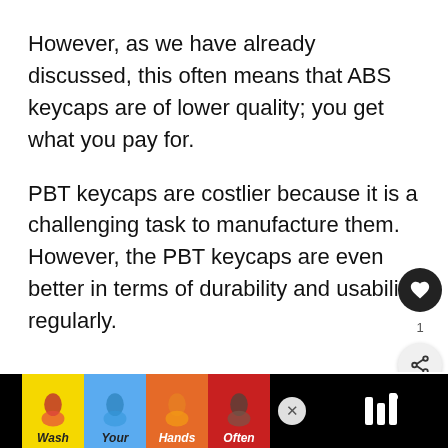However, as we have already discussed, this often means that ABS keycaps are of lower quality; you get what you pay for.
PBT keycaps are costlier because it is a challenging task to manufacture them. However, the PBT keycaps are even better in terms of durability and usability regularly.
[Figure (screenshot): WHAT'S NEXT panel with thumbnail showing keyboard keycaps and text 'What are Double Shot...']
[Figure (infographic): Advertisement banner: Wash Your Hands Often - four colored sections with illustrated hands, wash your hands often public health message]